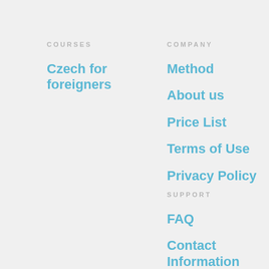COURSES
Czech for foreigners
COMPANY
Method
About us
Price List
Terms of Use
Privacy Policy
SUPPORT
FAQ
Contact Information